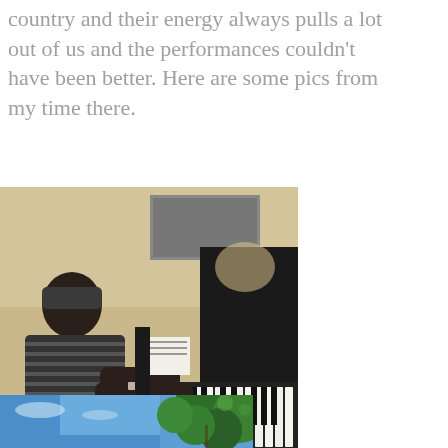country and their energy always pulls a lot out of us and the performances couldn't have been better. Here are some pics from my time there.
[Figure (photo): A person wearing a dark beanie hat and striped shirt playing a black grand piano in a room with a painting on the wall in the background.]
[Figure (photo): Outdoor scene showing blue sky and green tree leaves viewed from below.]